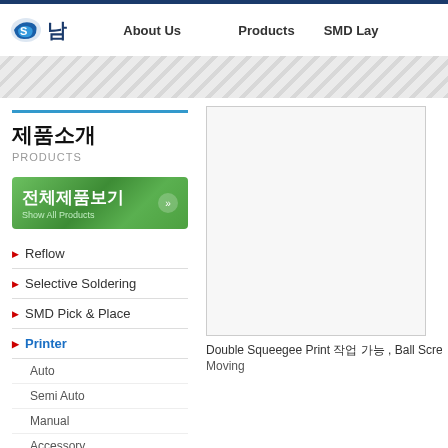남 | About Us | Products | SMD Lay...
[Figure (screenshot): Gray diagonal striped banner]
제품소개
PRODUCTS
전체제품보기 Show All Products
Reflow
Selective Soldering
SMD Pick & Place
Printer
Auto
Semi Auto
Manual
Accessory
Dispenser
PCB Cutting
[Figure (photo): Product image placeholder box]
Double Squeegee Print 작업 가능 , Ball Scre... Moving...